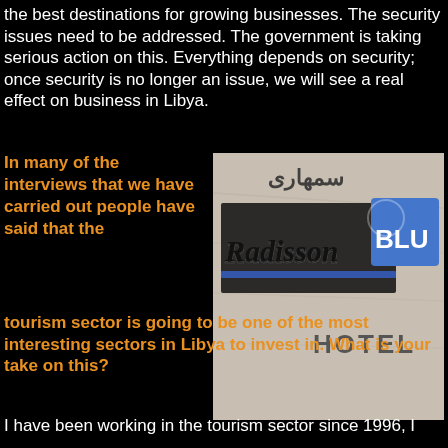the best destinations for growing businesses. The security issues need to be addressed. The government is taking serious action on this. Everything depends on security; once security is no longer an issue, we will see a real effect on business in Libya.
[Figure (photo): Radisson BLU Hotel sign with Arabic text above it, mounted on a marble wall]
In many of the interviews that we have carried out people have said that the tourism sector is going to be one of the most interesting sectors in Libya to invest in. What is your take on this?
I have been working in the tourism sector since 1996, I